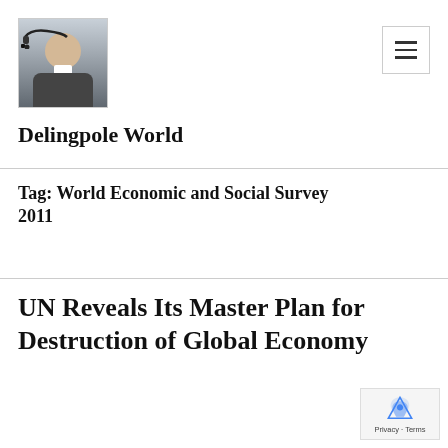[Figure (photo): Profile photo of a man wearing glasses and a headset, appears to be in a cockpit or vehicle. Photo is square-cropped.]
Delingpole World
Tag: World Economic and Social Survey 2011
UN Reveals Its Master Plan for Destruction of Global Economy